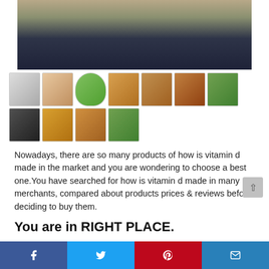[Figure (photo): Person wearing dark navy jacket standing outdoors in a field, cropped to show torso and arms only]
[Figure (photo): Grid of thumbnail images: a man photo, a book cover 'Why We Get Fat', and multiple vitamin D supplement bottles of various brands]
Nowadays, there are so many products of how is vitamin d made in the market and you are wondering to choose a best one.You have searched for how is vitamin d made in many merchants, compared about products prices & reviews before deciding to buy them.
You are in RIGHT PLACE.
[Figure (infographic): Social sharing bar at bottom with Facebook (blue), Twitter (light blue), Pinterest (red), and email (dark blue) buttons]